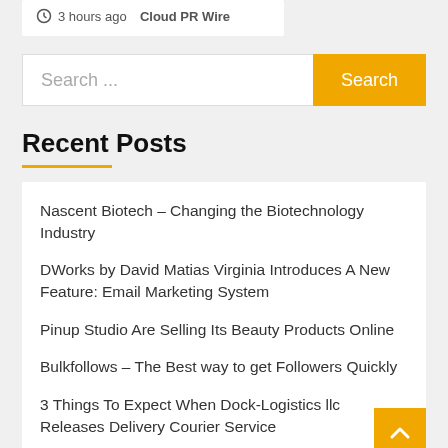3 hours ago  Cloud PR Wire
Search ...
Recent Posts
Nascent Biotech – Changing the Biotechnology Industry
DWorks by David Matias Virginia Introduces A New Feature: Email Marketing System
Pinup Studio Are Selling Its Beauty Products Online
Bulkfollows – The Best way to get Followers Quickly
3 Things To Expect When Dock-Logistics llc Releases Delivery Courier Service